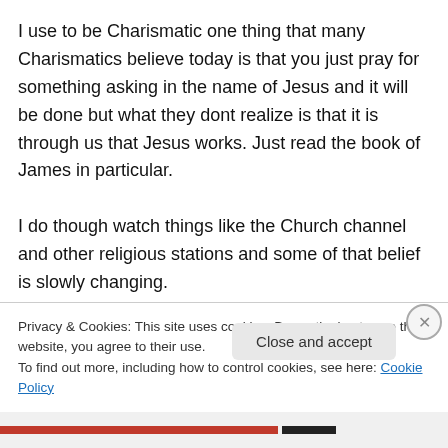I use to be Charismatic one thing that many Charismatics believe today is that you just pray for something asking in the name of Jesus and it will be done but what they dont realize is that it is through us that Jesus works. Just read the book of James in particular.

I do though watch things like the Church channel and other religious stations and some of that belief is slowly changing.
We must get involved if we are to bring about the
Privacy & Cookies: This site uses cookies. By continuing to use this website, you agree to their use.
To find out more, including how to control cookies, see here: Cookie Policy
Close and accept